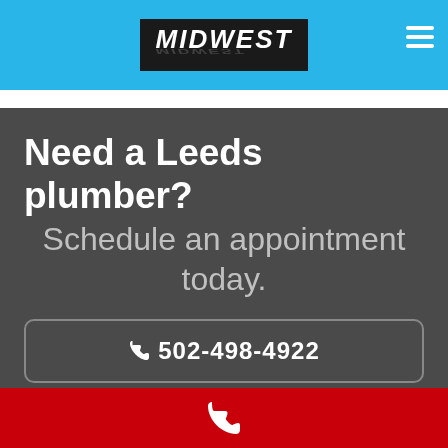MIDWEST
Need a Leeds plumber?
Schedule an appointment today.
☎ 502-498-4922
[Figure (logo): White phone handset icon on red background footer bar]